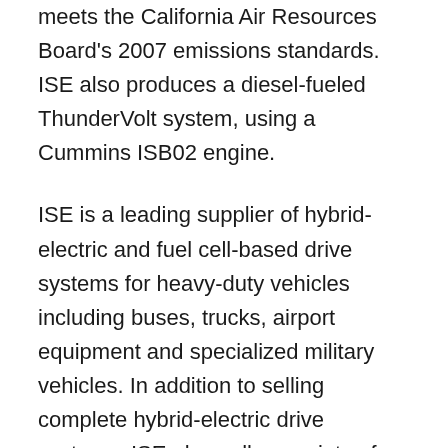meets the California Air Resources Board's 2007 emissions standards. ISE also produces a diesel-fueled ThunderVolt system, using a Cummins ISB02 engine.
ISE is a leading supplier of hybrid-electric and fuel cell-based drive systems for heavy-duty vehicles including buses, trucks, airport equipment and specialized military vehicles. In addition to selling complete hybrid-electric drive systems, ISE also sells a variety of electric and hybrid-electric vehicle components and offers a range of vehicle integration and support services. For more information, please visit www.isecorp.com.
Maxwell sells reliability. We develop, manufacture